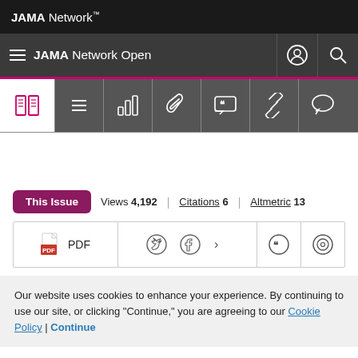JAMA Network
JAMA Network Open
[Figure (screenshot): Icon toolbar with book, menu, bar chart, paperclip, quote, link, and comment icons]
This Issue   Views 4,192 | Citations 6 | Altmetric 13
PDF
Our website uses cookies to enhance your experience. By continuing to use our site, or clicking "Continue," you are agreeing to our Cookie Policy | Continue